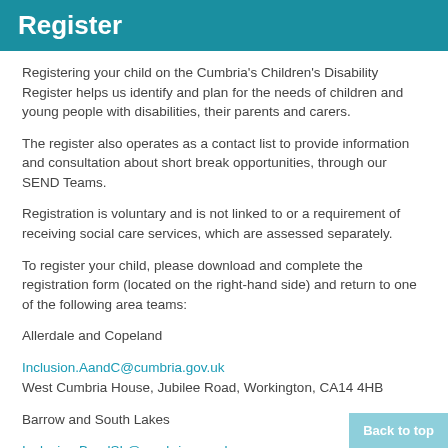Register
Registering your child on the Cumbria's Children's Disability Register helps us identify and plan for the needs of children and young people with disabilities, their parents and carers.
The register also operates as a contact list to provide information and consultation about short break opportunities, through our SEND Teams.
Registration is voluntary and is not linked to or a requirement of receiving social care services, which are assessed separately.
To register your child, please download and complete the registration form (located on the right-hand side) and return to one of the following area teams:
Allerdale and Copeland
Inclusion.AandC@cumbria.gov.uk
West Cumbria House, Jubilee Road, Workington, CA14 4HB
Barrow and South Lakes
Inclusion.BandSL@cumbria.gov.uk
Barrow: 4th Floor, Craven House, Michaelson Road, Barrow-